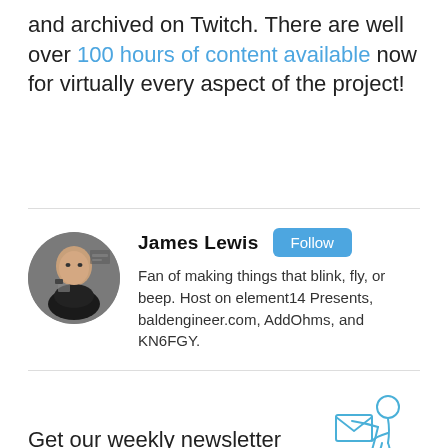and archived on Twitch. There are well over 100 hours of content available now for virtually every aspect of the project!
[Figure (photo): Circular profile photo of James Lewis, a bald man in a black shirt holding a device, with electronics in the background.]
James Lewis
Follow
Fan of making things that blink, fly, or beep. Host on element14 Presents, baldengineer.com, AddOhms, and KN6FGY.
Get our weekly newsletter when you join Hackster.
[Figure (illustration): Line drawing illustration of a person holding a large envelope, rendered in light blue outline style.]